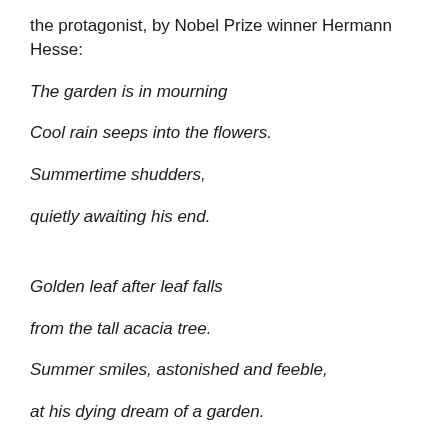the protagonist, by Nobel Prize winner Hermann Hesse:
The garden is in mourning
Cool rain seeps into the flowers.
Summertime shudders,
quietly awaiting his end.
Golden leaf after leaf falls
from the tall acacia tree.
Summer smiles, astonished and feeble,
at his dying dream of a garden.